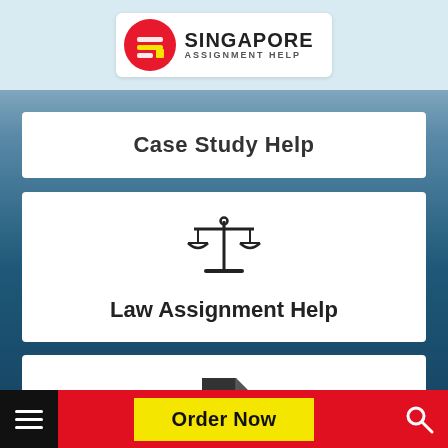[Figure (logo): Singapore Assignment Help logo with red circle icon and text]
Case Study Help
[Figure (illustration): Scales of justice icon (balance scale)]
Law Assignment Help
[Figure (illustration): Document/file icon]
Thesis Writing Help
[Figure (illustration): Dollar bill / money icon (partially visible)]
Order Now